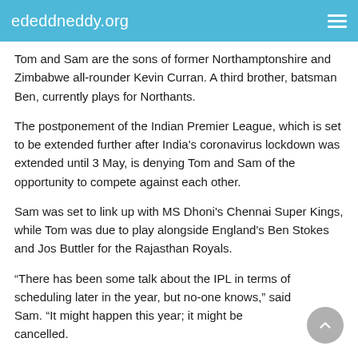ededdneddy.org
Tom and Sam are the sons of former Northamptonshire and Zimbabwe all-rounder Kevin Curran. A third brother, batsman Ben, currently plays for Northants.
The postponement of the Indian Premier League, which is set to be extended further after India's coronavirus lockdown was extended until 3 May, is denying Tom and Sam of the opportunity to compete against each other.
Sam was set to link up with MS Dhoni's Chennai Super Kings, while Tom was due to play alongside England's Ben Stokes and Jos Buttler for the Rajasthan Royals.
“There has been some talk about the IPL in terms of scheduling later in the year, but no-one knows,” said Sam. “It might happen this year; it might be cancelled.